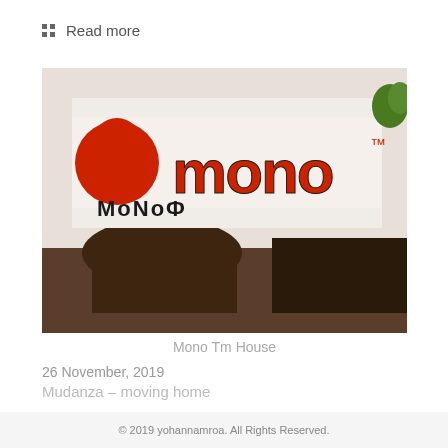Read more
[Figure (photo): Photo of Mono TM House storefront sign with red logo and text]
Mono Tm House
26 November, 2019
Mudanza – moving home
Read more
© 2019 yohannamroa. All Rights Reserved.